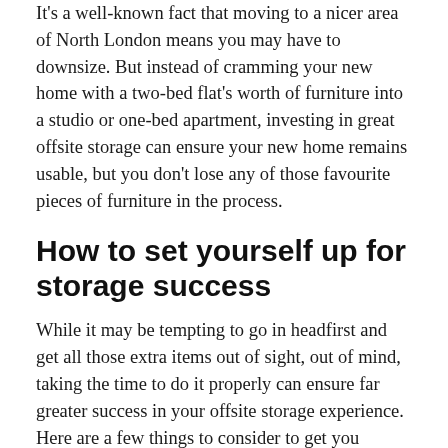It's a well-known fact that moving to a nicer area of North London means you may have to downsize. But instead of cramming your new home with a two-bed flat's worth of furniture into a studio or one-bed apartment, investing in great offsite storage can ensure your new home remains usable, but you don't lose any of those favourite pieces of furniture in the process.
How to set yourself up for storage success
While it may be tempting to go in headfirst and get all those extra items out of sight, out of mind, taking the time to do it properly can ensure far greater success in your offsite storage experience. Here are a few things to consider to get you started: